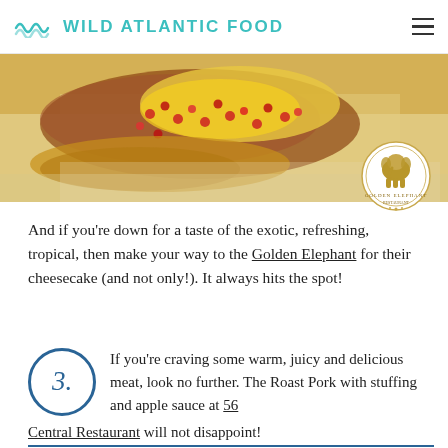WILD ATLANTIC FOOD
[Figure (photo): Close-up food photo showing colorful dish with yellow, red and brown elements on a plate]
[Figure (logo): Golden Elephant restaurant circular logo badge]
And if you're down for a taste of the exotic, refreshing, tropical, then make your way to the Golden Elephant for their cheesecake (and not only!). It always hits the spot!
If you're craving some warm, juicy and delicious meat, look no further. The Roast Pork with stuffing and apple sauce at 56 Central Restaurant will not disappoint!